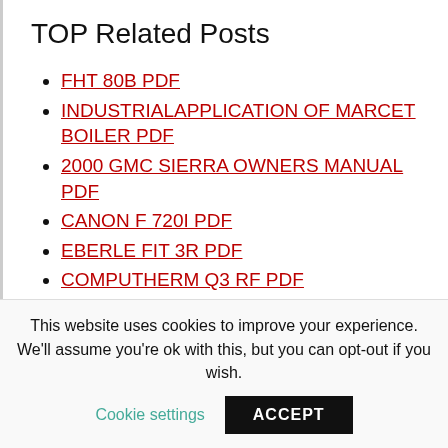TOP Related Posts
FHT 80B PDF
INDUSTRIALAPPLICATION OF MARCET BOILER PDF
2000 GMC SIERRA OWNERS MANUAL PDF
CANON F 720I PDF
EBERLE FIT 3R PDF
COMPUTHERM Q3 RF PDF
LOVE CONTROLS 16133 PDF
GLOW WORM 30CI PDF
This website uses cookies to improve your experience. We'll assume you're ok with this, but you can opt-out if you wish.
Cookie settings   ACCEPT